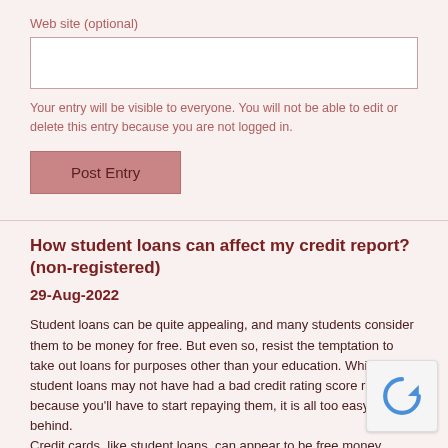Web site (optional)
Your entry will be visible to everyone. You will not be able to edit or delete this entry because you are not logged in.
Post Entry
How student loans can affect my credit report? (non-registered)
29-Aug-2022
Student loans can be quite appealing, and many students consider them to be money for free. But even so, resist the temptation to take out loans for purposes other than your education. While student loans may not have had a bad credit rating score right now, because you'll have to start repaying them, it is all too easy to fall behind.
Credit cards, like student loans, can appear to be free money. When you don't have cash on hand, it's easy to overspend. Consumer debt, or even holding more than 30% of your revenue in debt, which is simp... you're a poor student, can have a bad credit rating score. Paying fo... anything in cash, on either hand, means you're not going to build credit. Use